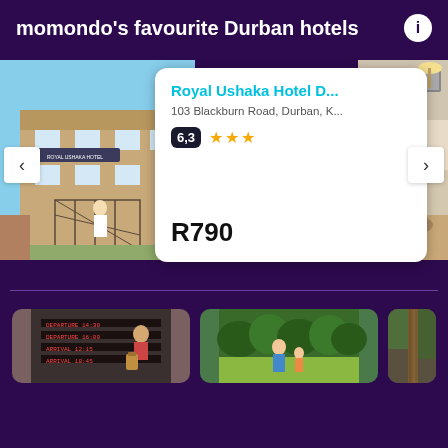momondo's favourite Durban hotels
[Figure (photo): Royal Ushaka Hotel exterior photo showing brick building with signage]
Royal Ushaka Hotel D...
103 Blackburn Road, Durban, K...
6,3 ★★★
R790
[Figure (photo): Hotel interior room photo]
[Figure (photo): Traveller at airport with luggage]
[Figure (photo): Family in garden/outdoor setting]
[Figure (photo): Outdoor scene with tree]